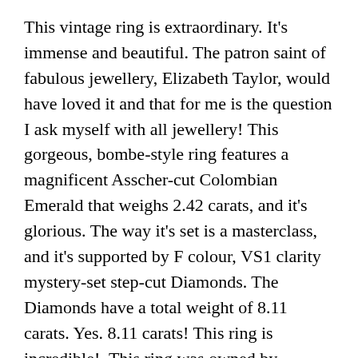This vintage ring is extraordinary. It's immense and beautiful. The patron saint of fabulous jewellery, Elizabeth Taylor, would have loved it and that for me is the question I ask myself with all jewellery! This gorgeous, bombe-style ring features a magnificent Asscher-cut Colombian Emerald that weighs 2.42 carats, and it's glorious. The way it's set is a masterclass, and it's supported by F colour, VS1 clarity mystery-set step-cut Diamonds. The Diamonds have a total weight of 8.11 carats. Yes. 8.11 carats! This ring is incredible!  This ring was owned by someone pretty famous, if you buy it, we can tell you who
Read all about what makes Emeralds so special here.
This ring is inscribed within the band with the